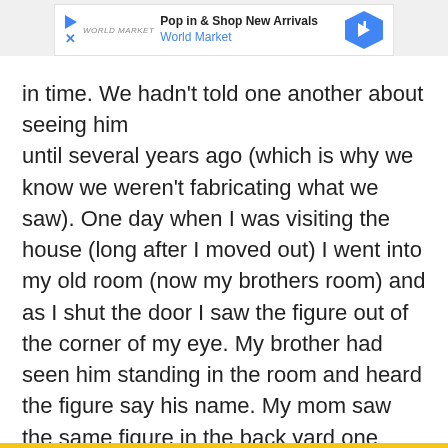[Figure (other): Advertisement banner: Pop in & Shop New Arrivals - World Market, with play button, close button, logo, and blue diamond arrow icon]
in time. We hadn't told one another about seeing him until several years ago (which is why we know we weren't fabricating what we saw). One day when I was visiting the house (long after I moved out) I went into my old room (now my brothers room) and as I shut the door I saw the figure out of the corner of my eye. My brother had seen him standing in the room and heard the figure say his name. My mom saw the same figure in the back yard one night after everything happened with her boyfriend. The house is most definitely haunted.
[Figure (other): Advertisement banner: Pop in & Shop New Arrivals - World Market, with play button, close button, logo, and blue diamond arrow icon]